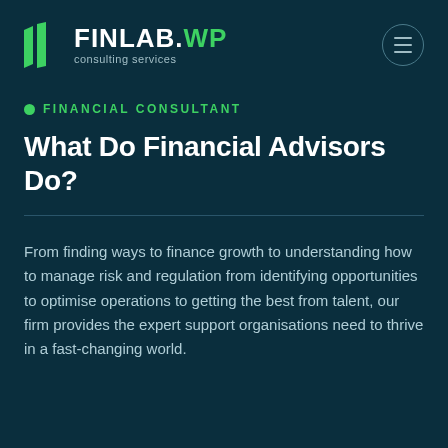FINLAB.WP consulting services
FINANCIAL CONSULTANT
What Do Financial Advisors Do?
From finding ways to finance growth to understanding how to manage risk and regulation from identifying opportunities to optimise operations to getting the best from talent, our firm provides the expert support organisations need to thrive in a fast-changing world.